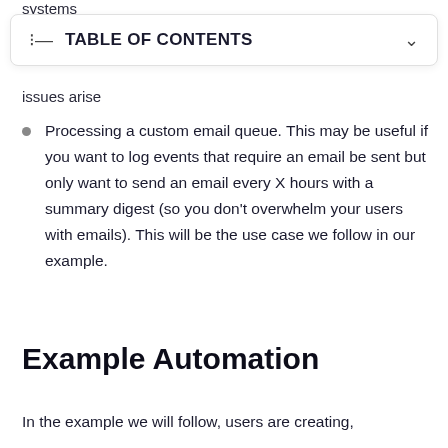systems
TABLE OF CONTENTS
issues arise
Processing a custom email queue. This may be useful if you want to log events that require an email be sent but only want to send an email every X hours with a summary digest (so you don't overwhelm your users with emails). This will be the use case we follow in our example.
Example Automation
In the example we will follow, users are creating,